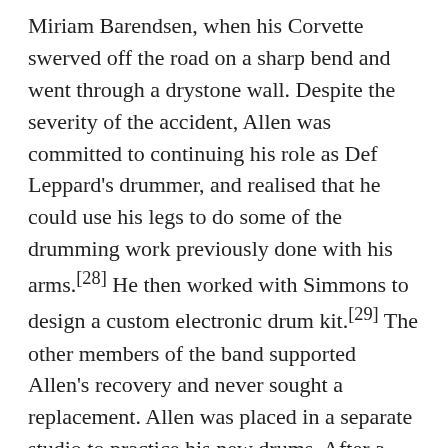Miriam Barendsen, when his Corvette swerved off the road on a sharp bend and went through a drystone wall. Despite the severity of the accident, Allen was committed to continuing his role as Def Leppard's drummer, and realised that he could use his legs to do some of the drumming work previously done with his arms.[28] He then worked with Simmons to design a custom electronic drum kit.[29] The other members of the band supported Allen's recovery and never sought a replacement. Allen was placed in a separate studio to practice his new drums. After a few months, Allen gathered the band together and performed the intro to the Led Zeppelin version of "When the Levee Breaks" to showcase his progress to the band. Joe Elliott reports this as being a "very emotional moment." During this period, Mutt Lange returned as producer. Def Leppard brought in Jeff Rich in August 1986 to play alongside Allen during Def Leppard's warm-up mini tour of Ireland. When the band couldn't fit two drum kits on stage at a gig, he and the band realized Allen could drum alone.[30] Allen's comeback was